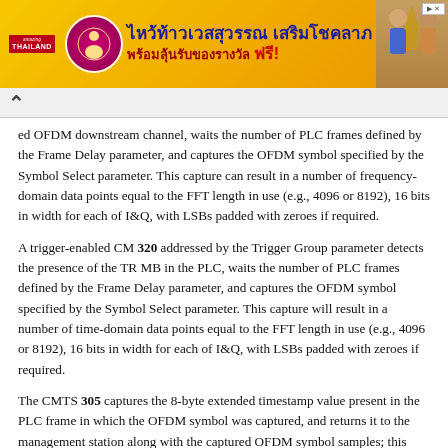[Figure (other): Thai advertisement banner with golden background showing Thai text 'ไหว้ท้าวเวสสุวรรณ เสริมโชคลาภ พร้อมลุ้นรับของรางวัล ฟรี!' with Amazing Thailand logo and decorative figures]
ed OFDM downstream channel, waits the number of PLC frames defined by the Frame Delay parameter, and captures the OFDM symbol specified by the Symbol Select parameter. This capture can result in a number of frequency-domain data points equal to the FFT length in use (e.g., 4096 or 8192), 16 bits in width for each of I&Q, with LSBs padded with zeroes if required.
A trigger-enabled CM 320 addressed by the Trigger Group parameter detects the presence of the TR MB in the PLC, waits the number of PLC frames defined by the Frame Delay parameter, and captures the OFDM symbol specified by the Symbol Select parameter. This capture will result in a number of time-domain data points equal to the FFT length in use (e.g., 4096 or 8192), 16 bits in width for each of I&Q, with LSBs padded with zeroes if required.
The CMTS 305 captures the 8-byte extended timestamp value present in the PLC frame in which the OFDM symbol was captured, and returns it to the management station along with the captured OFDM symbol samples; this aids in identifying the captured data, and permits comparing the capture time with other time-stamped events such as burst noise and FEC errors.